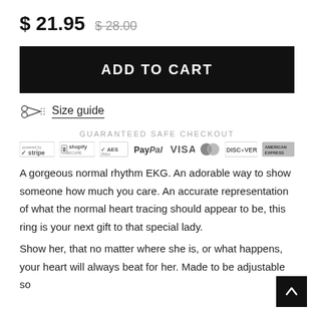$ 21.95  $ 28.00 (strikethrough)
ADD TO CART
Size guide
GUARANTEED SAFE CHECKOUT
[Figure (logo): Payment badges: Stripe, Shopify Secure, AES 256bit, PayPal, VISA, Mastercard, Discover, American Express]
A gorgeous normal rhythm EKG. An adorable way to show someone how much you care. An accurate representation of what the normal heart tracing should appear to be, this ring is your next gift to that special lady.
Show her, that no matter where she is, or what happens, your heart will always beat for her. Made to be adjustable so